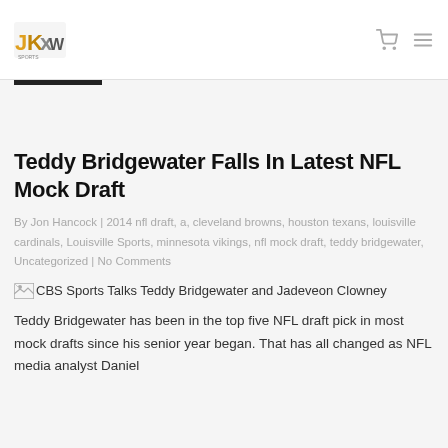JKXW logo with cart and menu icons
Teddy Bridgewater Falls In Latest NFL Mock Draft
By Jon Hancock | 2014 nfl draft, a, cleveland browns, houston texans, louisville cardinals, Louisville Sports, minnesota vikings, nfl mock draft, teddy bridgewater, Uncategorized | No Comments
[Figure (photo): Broken image placeholder with alt text: CBS Sports Talks Teddy Bridgewater and Jadeveon Clowney]
Teddy Bridgewater has been in the top five NFL draft pick in most mock drafts since his senior year began. That has all changed as NFL media analyst Daniel